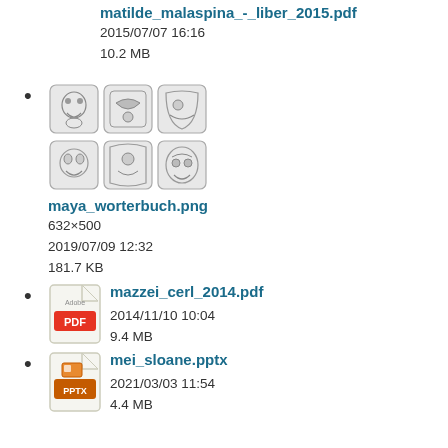matilde_malaspina_-_liber_2015.pdf
2015/07/07 16:16
10.2 MB
[Figure (illustration): Thumbnail image showing a grid of 6 Mayan glyph illustrations in black and white]
maya_worterbuch.png
632×500
2019/07/09 12:32
181.7 KB
mazzei_cerl_2014.pdf
2014/11/10 10:04
9.4 MB
mei_sloane.pptx
2021/03/03 11:54
4.4 MB